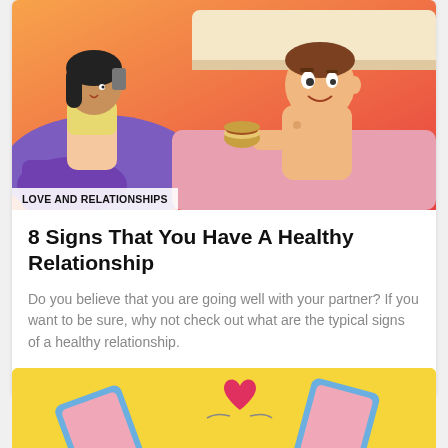[Figure (illustration): Cartoon illustration of a couple in bed. A woman in a yellow top and purple pants sits talking on phone, a shirtless man reclines eating a burger.]
LOVE AND RELATIONSHIPS
8 Signs That You Have A Healthy Relationship
Do you believe that you are going well with your partner? If you want to be sure, why not check out what are the typical signs of a healthy relationship.
September 21, 2020, 4:18 am
[Figure (illustration): Cartoon illustration of two pink phones/tablets on yellow background with a red heart in the middle.]